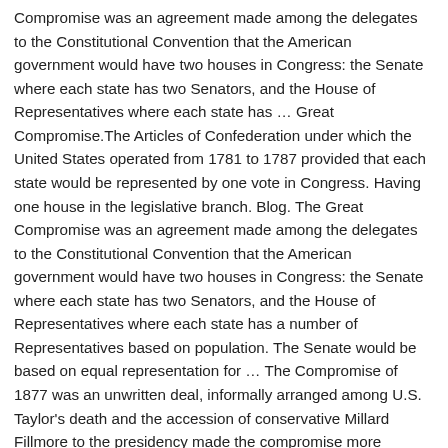Compromise was an agreement made among the delegates to the Constitutional Convention that the American government would have two houses in Congress: the Senate where each state has two Senators, and the House of Representatives where each state has ... Great Compromise.The Articles of Confederation under which the United States operated from 1781 to 1787 provided that each state would be represented by one vote in Congress. Having one house in the legislative branch. Blog. The Great Compromise was an agreement made among the delegates to the Constitutional Convention that the American government would have two houses in Congress: the Senate where each state has two Senators, and the House of Representatives where each state has a number of Representatives based on population. The Senate would be based on equal representation for ... The Compromise of 1877 was an unwritten deal, informally arranged among U.S. Taylor's death and the accession of conservative Millard Fillmore to the presidency made the compromise more feasible. Their so-called Great Compromise (or Connecticut Compromise in honor of its architects, Connecticut delegates Roger Sherman and Oliver Ellsworth) provided a dual system of congressional representation. The Connecticut Plan, also known as the Great Compromise of 1787, was proposed by Roger Sherman and Oliver Ellsworth during the Constitutional Convention at the State...